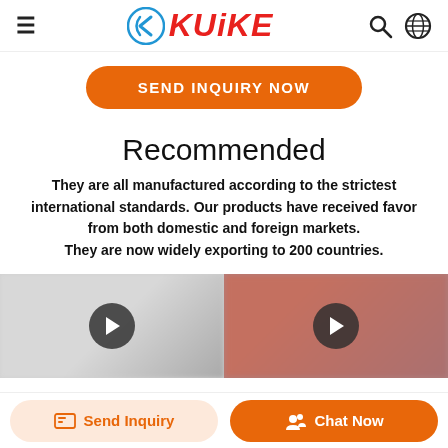KUIKE — navigation header with logo, menu icon, search icon, globe icon
SEND INQUIRY NOW
Recommended
They are all manufactured according to the strictest international standards. Our products have received favor from both domestic and foreign markets.
They are now widely exporting to 200 countries.
[Figure (photo): Product video thumbnail with blurred product image and play button overlay]
[Figure (photo): Product video thumbnail with blurred reddish product image and play button overlay]
Send Inquiry  |  Chat Now